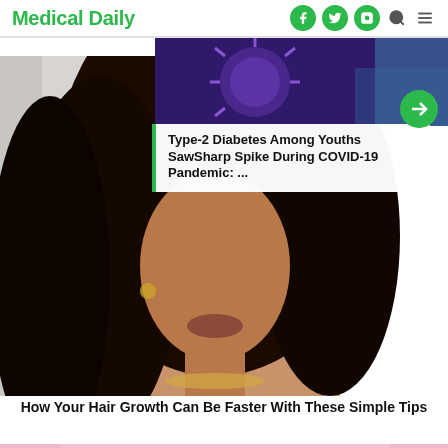Medical Daily
[Figure (screenshot): Medical Daily website screenshot showing header with logo and social media icons, a feature article about Type-2 Diabetes Among Youths with a microscope background image, a main photo of a woman with curly hair, and a headline about hair growth tips]
Type-2 Diabetes Among Youths SawSharp Spike During COVID-19 Pandemic: ...
How Your Hair Growth Can Be Faster With These Simple Tips